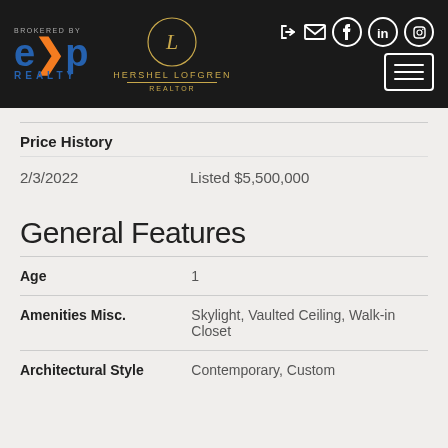eXp Realty — Brokered By | Hershel Lofgren Realtor
Price History
| Date | Event |
| --- | --- |
| 2/3/2022 | Listed $5,500,000 |
General Features
| Feature | Value |
| --- | --- |
| Age | 1 |
| Amenities Misc. | Skylight, Vaulted Ceiling, Walk-in Closet |
| Architectural Style | Contemporary, Custom |